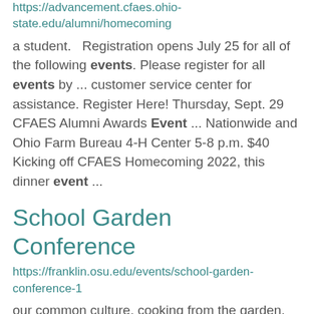https://advancement.cfaes.ohiostate.edu/alumni/homecoming
a student.   Registration opens July 25 for all of the following events. Please register for all events by ... customer service center for assistance. Register Here! Thursday, Sept. 29 CFAES Alumni Awards Event ... Nationwide and Ohio Farm Bureau 4-H Center 5-8 p.m. $40 Kicking off CFAES Homecoming 2022, this dinner event ...
School Garden Conference
https://franklin.osu.edu/events/school-garden-conference-1
our common culture, cooking from the garden, different cultivars, basic garden